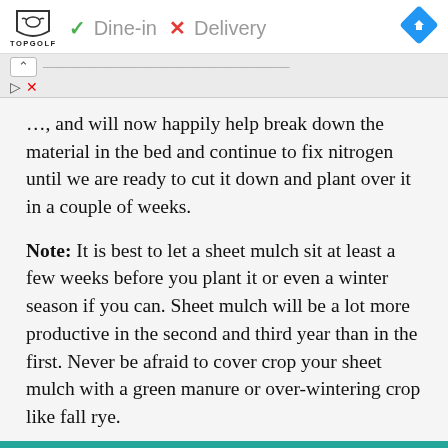[Figure (screenshot): Topgolf advertisement bar showing logo, Dine-in checkmark, Delivery X mark, and navigation diamond icon]
▲ [scroll indicator]
…, and will now happily help break down the material in the bed and continue to fix nitrogen until we are ready to cut it down and plant over it in a couple of weeks.
Note: It is best to let a sheet mulch sit at least a few weeks before you plant it or even a winter season if you can. Sheet mulch will be a lot more productive in the second and third year than in the first. Never be afraid to cover crop your sheet mulch with a green manure or over-wintering crop like fall rye.
Double note: If you can, try to keep these materials out